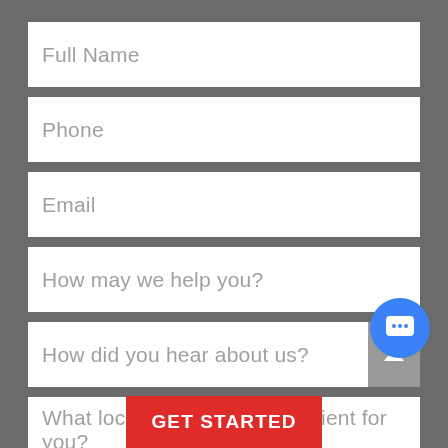Full Name
Phone
Email
How may we help you?
How did you hear about us?
What location is most convenient for you?
GET STARTED